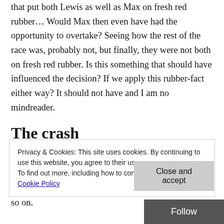that put both Lewis as well as Max on fresh red rubber... Would Max then even have had the opportunity to overtake? Seeing how the rest of the race was, probably not, but finally, they were not both on fresh red rubber. Is this something that should have influenced the decision? If we apply this rubber-fact either way? It should not have and I am no mindreader.
The crash
In that same light, if Latifi would not have crashed, none of this would have happened. No safety car, no issues with cars being left in the queue and so on, and so on.
Privacy & Cookies: This site uses cookies. By continuing to use this website, you agree to their use. To find out more, including how to control cookies, see here: Cookie Policy
Close and accept
Follow